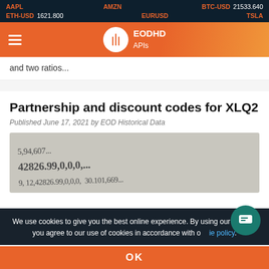AAPL   AMZN   BTC-USD 21533.640   ETH-USD 1621.800   EURUSD   TSLA
[Figure (logo): EODHD APIs logo with orange nav bar and hamburger menu]
and two ratios...
Partnership and discount codes for XLQ2
Published June 17, 2021 by EOD Historical Data
[Figure (photo): Close-up photo of financial numbers on paper: 5,94,667... 42826.99,0,0,0,... 12,42826.99,0,0,0, 30.101,669...]
We use cookies to give you the best online experience. By using our website you agree to our use of cookies in accordance with our cookie policy.
OK